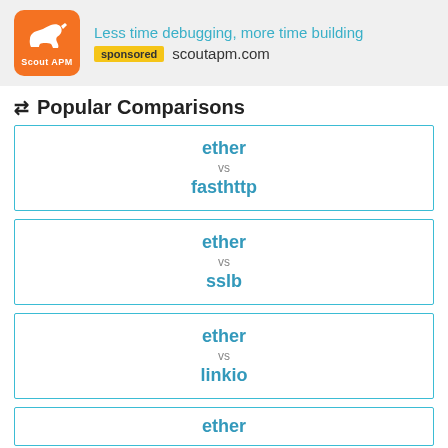[Figure (other): Scout APM advertisement banner with orange logo showing a dog silhouette, headline 'Less time debugging, more time building', sponsored badge, and scoutapm.com URL]
⇄ Popular Comparisons
ether vs fasthttp
ether vs sslb
ether vs linkio
ether